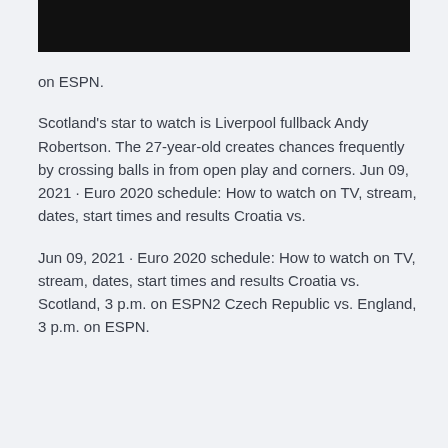[Figure (photo): Black rectangle image at top of page]
on ESPN.
Scotland's star to watch is Liverpool fullback Andy Robertson. The 27-year-old creates chances frequently by crossing balls in from open play and corners. Jun 09, 2021 · Euro 2020 schedule: How to watch on TV, stream, dates, start times and results Croatia vs.
Jun 09, 2021 · Euro 2020 schedule: How to watch on TV, stream, dates, start times and results Croatia vs. Scotland, 3 p.m. on ESPN2 Czech Republic vs. England, 3 p.m. on ESPN.